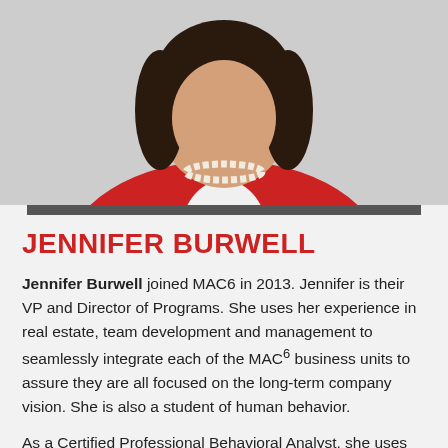[Figure (photo): Woman wearing a red jacket and pearl necklace, photographed from waist up against a light background.]
JENNIFER BURWELL
Jennifer Burwell joined MAC6 in 2013. Jennifer is their VP and Director of Programs. She uses her experience in real estate, team development and management to seamlessly integrate each of the MAC6 business units to assure they are all focused on the long-term company vision. She is also a student of human behavior.
As a Certified Professional Behavioral Analyst, she uses her knowledge to facilitate